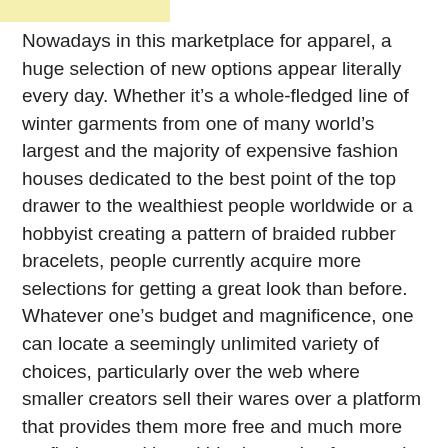Nowadays in this marketplace for apparel, a huge selection of new options appear literally every day. Whether it’s a whole-fledged line of winter garments from one of many world’s largest and the majority of expensive fashion houses dedicated to the best point of the top drawer to the wealthiest people worldwide or a hobbyist creating a pattern of braided rubber bracelets, people currently acquire more selections for getting a great look than before. Whatever one’s budget and magnificence, one can locate a seemingly unlimited variety of choices, particularly over the web where smaller creators sell their wares over a platform that provides them more free and much more profit than working within the aegis of any major manufacturer just to obtain their works where ordinary consumers can see them.
A single option for creating a dizzying assortment of apparel is silk screen printed t-shirts. These shirts are coming in a constantly increasing amount of styles and patterns, as